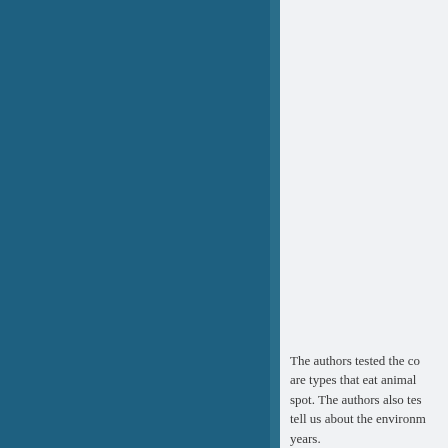[Figure (illustration): Large teal/dark blue rectangular panel occupying the left ~60% of the page]
The authors tested the co are types that eat animal spot. The authors also tes tell us about the environm years.